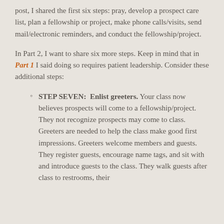post, I shared the first six steps: pray, develop a prospect care list, plan a fellowship or project, make phone calls/visits, send mail/electronic reminders, and conduct the fellowship/project.
In Part 2, I want to share six more steps. Keep in mind that in Part 1 I said doing so requires patient leadership. Consider these additional steps:
STEP SEVEN:  Enlist greeters. Your class now believes prospects will come to a fellowship/project. They not recognize prospects may come to class. Greeters are needed to help the class make good first impressions. Greeters welcome members and guests. They register guests, encourage name tags, and sit with and introduce guests to the class. They walk guests after class to restrooms, their